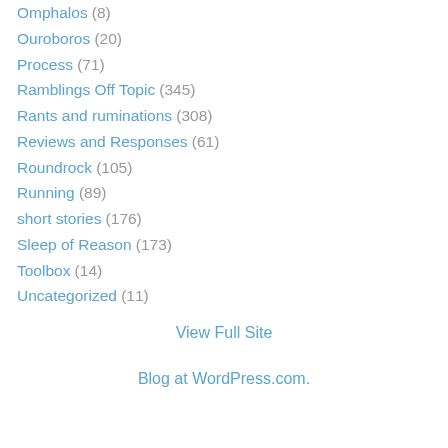Omphalos (8)
Ouroboros (20)
Process (71)
Ramblings Off Topic (345)
Rants and ruminations (308)
Reviews and Responses (61)
Roundrock (105)
Running (89)
short stories (176)
Sleep of Reason (173)
Toolbox (14)
Uncategorized (11)
View Full Site
Blog at WordPress.com.